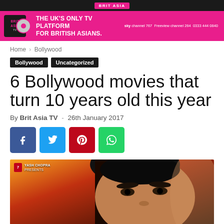BRIT ASIA
[Figure (infographic): Pink Brit Asia TV advertisement banner: THE UK'S ONLY TV PLATFORM FOR BRITISH ASIANS. sky channel 767  Freeview channel 264  0333 444 0840]
Home › Bollywood
Bollywood   Uncategorized
6 Bollywood movies that turn 10 years old this year
By Brit Asia TV - 26th January 2017
[Figure (other): Social share buttons: Facebook, Twitter, Pinterest, WhatsApp]
[Figure (photo): Bollywood movie promotional image – Yash Chopra Presents – close-up of male actor (Shah Rukh Khan) against orange/sunset background]